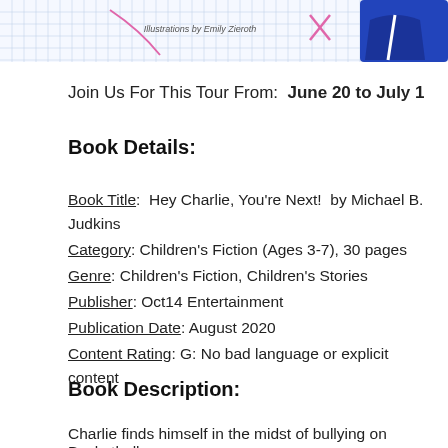[Figure (illustration): Top portion of a book cover illustration showing 'Illustrations by Emily Zieroth' text and cartoon characters on a graph-paper background with a blue character on the right.]
Join Us For This Tour From:  June 20 to July 1
Book Details:
Book Title:  Hey Charlie, You're Next!  by Michael B. Judkins
Category:  Children's Fiction (Ages 3-7), 30 pages
Genre:  Children's Fiction, Children's Stories
Publisher:  Oct14 Entertainment
Publication Date:  August 2020
Content Rating:  G: No bad language or explicit content
Book Description:
Charlie finds himself in the midst of bullying on Basketball